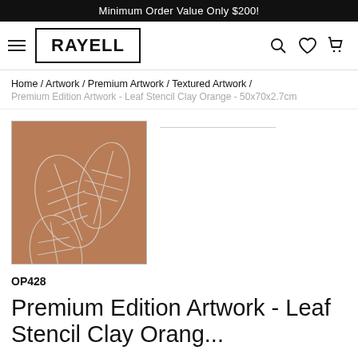Minimum Order Value Only $200!
[Figure (logo): Rayell brand logo in bold black text inside a black border rectangle, with hamburger menu icon on left and search, heart, cart icons on right]
Home / Artwork / Premium Artwork / Textured Artwork /
Premium Edition Artwork - Leaf Stencil Clay Orange - 50x70x2.7cm
[Figure (photo): Product photo of artwork showing white leaf stencil pattern on orange-brown clay textured background]
OP428
Premium Edition Artwork - Leaf Stencil Clay Orang...